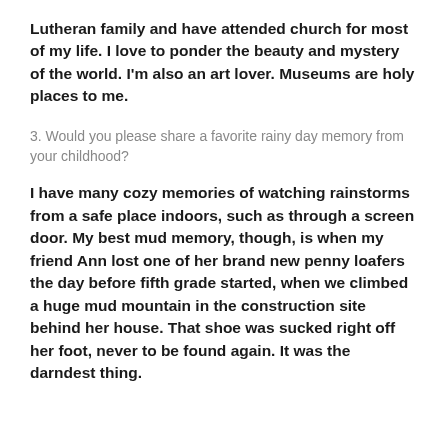Lutheran family and have attended church for most of my life. I love to ponder the beauty and mystery of the world. I'm also an art lover. Museums are holy places to me.
3. Would you please share a favorite rainy day memory from your childhood?
I have many cozy memories of watching rainstorms from a safe place indoors, such as through a screen door. My best mud memory, though, is when my friend Ann lost one of her brand new penny loafers the day before fifth grade started, when we climbed a huge mud mountain in the construction site behind her house. That shoe was sucked right off her foot, never to be found again. It was the darndest thing.